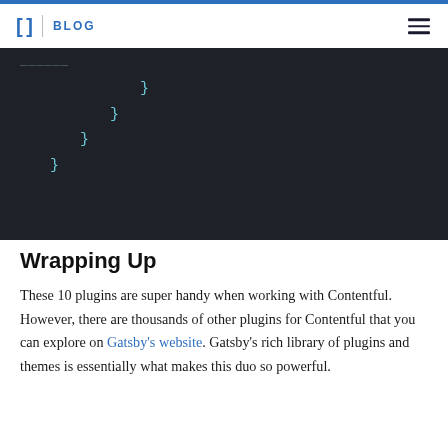[ ] | BLOG
[Figure (screenshot): Dark code editor screenshot showing closing curly braces at various indentation levels on a dark background (#1e2228), with cyan/teal colored braces.]
Wrapping Up
These 10 plugins are super handy when working with Contentful. However, there are thousands of other plugins for Contentful that you can explore on Gatsby's website. Gatsby's rich library of plugins and themes is essentially what makes this duo so powerful.